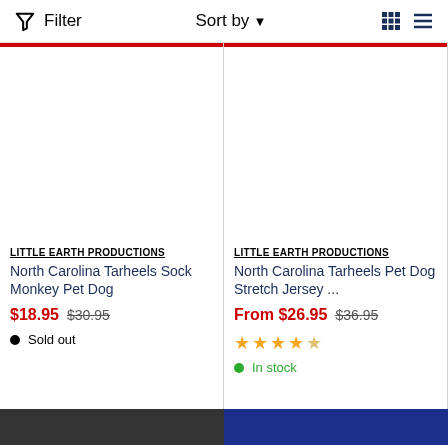Filter   Sort by   [grid view] [list view]
[Figure (screenshot): Product image area for North Carolina Tarheels Sock Monkey Pet Dog (blank/white)]
LITTLE EARTH PRODUCTIONS
North Carolina Tarheels Sock Monkey Pet Dog
$18.95  $30.95
Sold out
[Figure (screenshot): Product image area for North Carolina Tarheels Pet Dog Stretch Jersey (blank/white)]
LITTLE EARTH PRODUCTIONS
North Carolina Tarheels Pet Dog Stretch Jersey ...
From $26.95  $36.95
★★★★☆
In stock